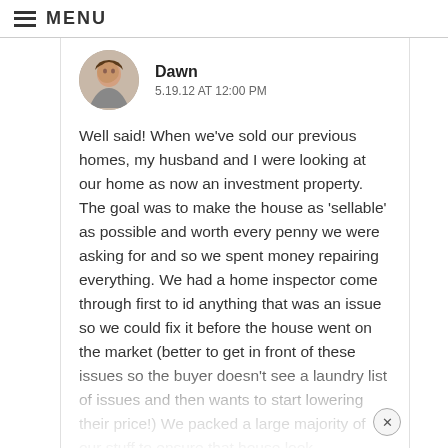MENU
Dawn
5.19.12 AT 12:00 PM
Well said! When we've sold our previous homes, my husband and I were looking at our home as now an investment property. The goal was to make the house as 'sellable' as possible and worth every penny we were asking for and so we spent money repairing everything. We had a home inspector come through first to id anything that was an issue so we could fix it before the house went on the market (better to get in front of these issues so the buyer doesn't see a laundry list of issues and then wants to start lowering their price!) We packed a large majority of our stuff to ensure that house look uncluttered